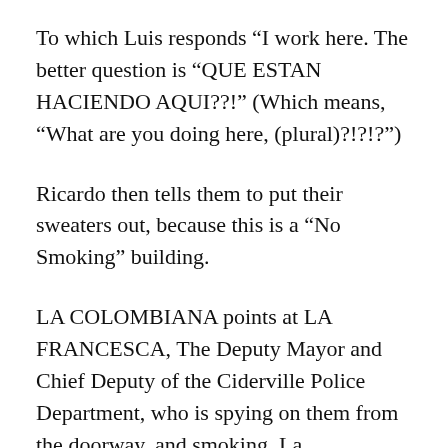To which Luis responds “I work here. The better question is “QUE ESTAN HACIENDO AQUI??!” (Which means, “What are you doing here, (plural)?!?!?”)
Ricardo then tells them to put their sweaters out, because this is a “No Smoking” building.
LA COLOMBIANA points at LA FRANCESCA, The Deputy Mayor and Chief Deputy of the Ciderville Police Department, who is spying on them from the doorway, and smoking. La Colombiana demands to know why La Francesca is allowed to smoke, and Luis explains that La Francesca’s grandmother founded the town, so she’s grandfathered in on